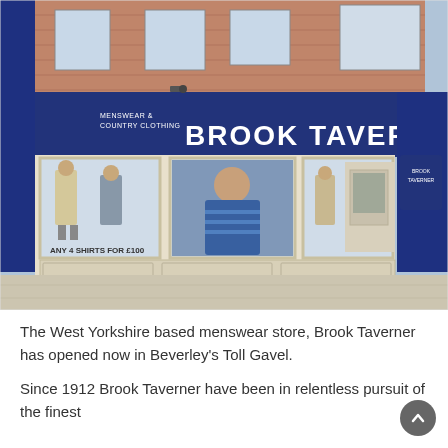[Figure (photo): Exterior photograph of Brook Taverner menswear store with blue fascia signage reading 'BROOK TAVERNER' and 'MENSWEAR & COUNTRY CLOTHING'. The shop front has large display windows showing mannequins in suits and clothing. A promotional sign reads 'ANY 4 SHIRTS FOR £100'.]
The West Yorkshire based menswear store, Brook Taverner has opened now in Beverley's Toll Gavel.
Since 1912 Brook Taverner have been in relentless pursuit of the finest